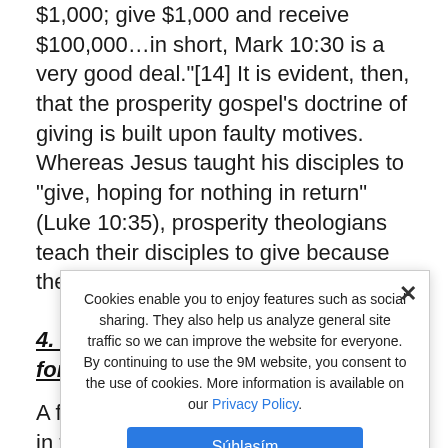$1,000; give $1,000 and receive $100,000…in short, Mark 10:30 is a very good deal."[14] It is evident, then, that the prosperity gospel's doctrine of giving is built upon faulty motives. Whereas Jesus taught his disciples to "give, hoping for nothing in return" (Luke 10:35), prosperity theologians teach their disciples to give because they will get a great return.
4. Faith is a self-generated spiritual force that leads to prosperity.
A fourth error of prosperity theology is in teaching that faith is a self-generated spiritual force that leads to prosperity. Whereas orthodox Christianity understands faith to be trust in the person of Jesus Christ, prosperity teachers use quite a different doctrine. In his book The Laws of
Cookies enable you to enjoy features such as social sharing. They also help us analyze general site traffic so we can improve the website for everyone. By continuing to use the 9M website, you consent to the use of cookies. More information is available on our Privacy Policy.